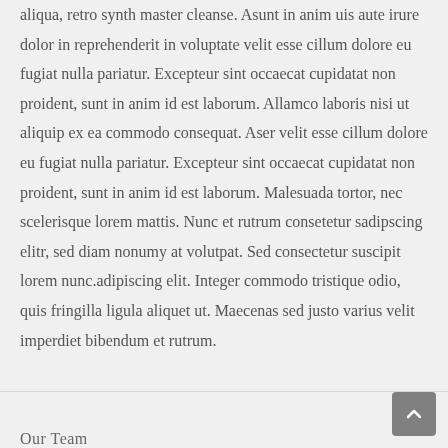aliqua, retro synth master cleanse. Asunt in anim uis aute irure dolor in reprehenderit in voluptate velit esse cillum dolore eu fugiat nulla pariatur. Excepteur sint occaecat cupidatat non proident, sunt in anim id est laborum. Allamco laboris nisi ut aliquip ex ea commodo consequat. Aser velit esse cillum dolore eu fugiat nulla pariatur. Excepteur sint occaecat cupidatat non proident, sunt in anim id est laborum. Malesuada tortor, nec scelerisque lorem mattis. Nunc et rutrum consetetur sadipscing elitr, sed diam nonumy at volutpat. Sed consectetur suscipit lorem nunc.adipiscing elit. Integer commodo tristique odio, quis fringilla ligula aliquet ut. Maecenas sed justo varius velit imperdiet bibendum et rutrum.
Our Team